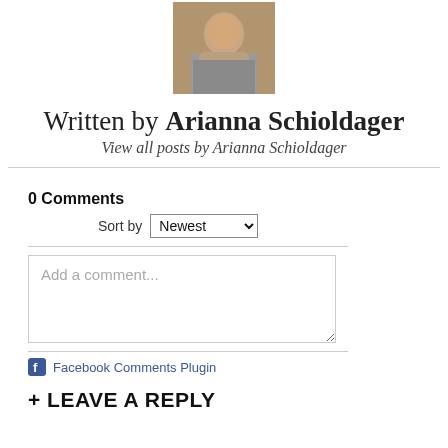[Figure (photo): Author photo of Arianna Schioldager — a young woman photographed outdoors]
Written by Arianna Schioldager
View all posts by Arianna Schioldager
0 Comments
Sort by Newest
Add a comment...
Facebook Comments Plugin
+ LEAVE A REPLY